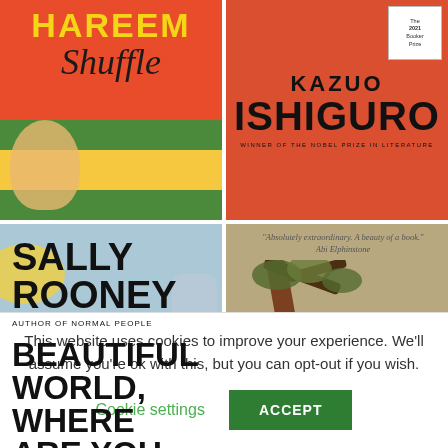[Figure (illustration): Book cover grid showing 4 book covers: top-left 'Harlem Shuffle' with red/yellow design, top-right 'Kazuo Ishiguro' (The Buried Giant or Klara) orange cover with Booker Prize badge, bottom-left 'Beautiful World, Where Are You' by Sally Rooney blue cover, bottom-right 'The Beatryce Prophecy' illustrated cover with child and goat by tree.]
This website uses cookies to improve your experience. We'll assume you're ok with this, but you can opt-out if you wish.
Cookie settings
ACCEPT